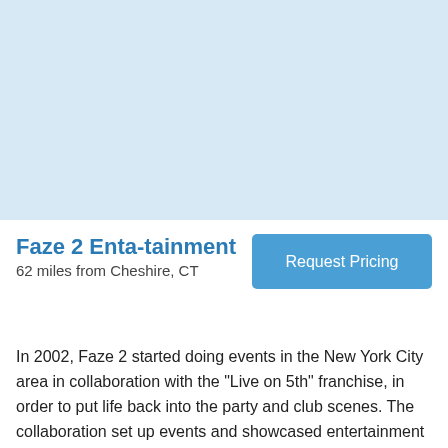[Figure (illustration): Light blue placeholder image area at the top of the page]
Faze 2 Enta-tainment
62 miles from Cheshire, CT
Request Pricing
In 2002, Faze 2 started doing events in the New York City area in collaboration with the "Live on 5th" franchise, in order to put life back into the party and club scenes. The collaboration set up events and showcased entertainment through New York's 5th